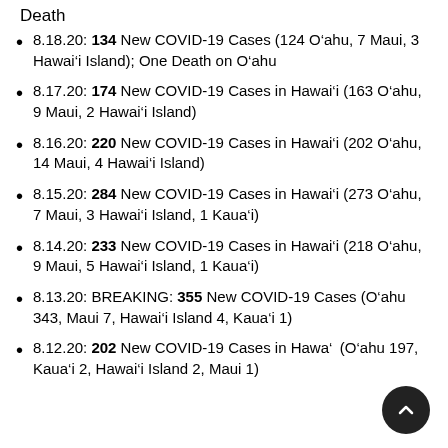Death
8.18.20: 134 New COVID-19 Cases (124 O‘ahu, 7 Maui, 3 Hawai‘i Island); One Death on O‘ahu
8.17.20: 174 New COVID-19 Cases in Hawai‘i (163 O‘ahu, 9 Maui, 2 Hawai‘i Island)
8.16.20: 220 New COVID-19 Cases in Hawai‘i (202 O‘ahu, 14 Maui, 4 Hawai‘i Island)
8.15.20: 284 New COVID-19 Cases in Hawai‘i (273 O‘ahu, 7 Maui, 3 Hawai‘i Island, 1 Kaua‘i)
8.14.20: 233 New COVID-19 Cases in Hawai‘i (218 O‘ahu, 9 Maui, 5 Hawai‘i Island, 1 Kaua‘i)
8.13.20: BREAKING: 355 New COVID-19 Cases (O‘ahu 343, Maui 7, Hawai‘i Island 4, Kaua‘i 1)
8.12.20: 202 New COVID-19 Cases in Hawa‘i (O‘ahu 197, Kaua‘i 2, Hawai‘i Island 2, Maui 1)